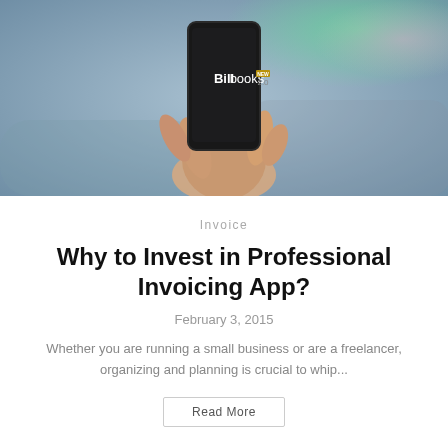[Figure (photo): A hand holding a smartphone displaying the Billbooks NEW 2.0 logo on a dark screen, with a blurred city street background.]
Invoice
Why to Invest in Professional Invoicing App?
February 3, 2015
Whether you are running a small business or are a freelancer, organizing and planning is crucial to whip...